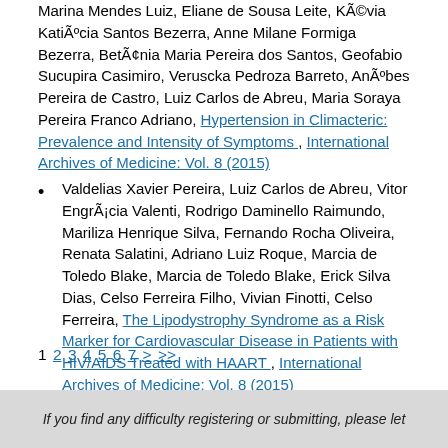Marina Mendes Luiz, Eliane de Sousa Leite, Kévia Katência Santos Bezerra, Anne Milane Formiga Bezerra, Betânia Maria Pereira dos Santos, Geofabio Sucupira Casimiro, Veruscka Pedroza Barreto, Anébes Pereira de Castro, Luiz Carlos de Abreu, Maria Soraya Pereira Franco Adriano, Hypertension in Climacteric: Prevalence and Intensity of Symptoms , International Archives of Medicine: Vol. 8 (2015)
Valdelias Xavier Pereira, Luiz Carlos de Abreu, Vitor Engrâcia Valenti, Rodrigo Daminello Raimundo, Mariliza Henrique Silva, Fernando Rocha Oliveira, Renata Salatini, Adriano Luiz Roque, Marcia de Toledo Blake, Marcia de Toledo Blake, Erick Silva Dias, Celso Ferreira Filho, Vivian Finotti, Celso Ferreira, The Lipodystrophy Syndrome as a Risk Marker for Cardiovascular Disease in Patients with HIV/AIDS Treated with HAART , International Archives of Medicine: Vol. 8 (2015)
1 2 3 4 5 6 7 > >>
If you find any difficulty registering or submitting, please let